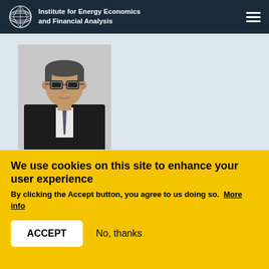Institute for Energy Economics and Financial Analysis
[Figure (photo): Professional headshot of a man with glasses, dark hair, wearing a dark suit and striped tie, against a light background]
We use cookies on this site to enhance your user experience
By clicking the Accept button, you agree to us doing so.  More info
ACCEPT   No, thanks